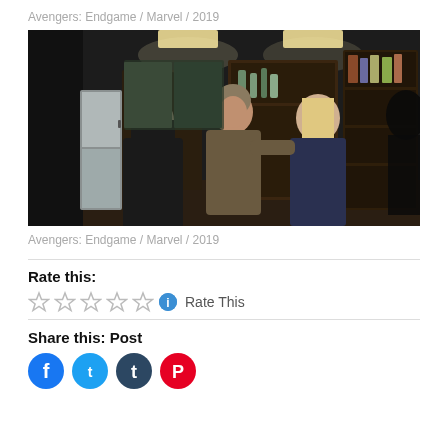Avengers: Endgame / Marvel / 2019
[Figure (photo): Movie still from Avengers: Endgame (2019) showing several characters in a dark interior kitchen/living room scene]
Avengers: Endgame / Marvel / 2019
Rate this:
☆☆☆☆☆ ℹ Rate This
Share this: Post
[Figure (infographic): Social media share icons: Facebook (blue), Twitter (light blue), Tumblr (dark teal), Pinterest (red)]